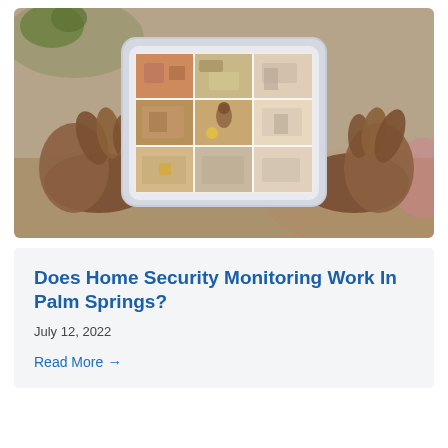[Figure (photo): Hands holding a tablet device displaying a grid of home security camera feeds showing various rooms of a house]
Does Home Security Monitoring Work In Palm Springs?
July 12, 2022
Read More →